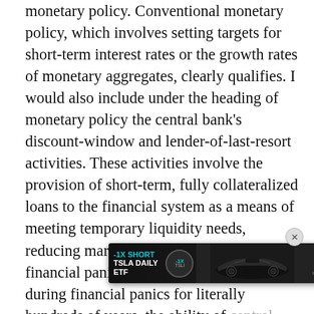monetary policy. Conventional monetary policy, which involves setting targets for short-term interest rates or the growth rates of monetary aggregates, clearly qualifies. I would also include under the heading of monetary policy the central bank's discount-window and lender-of-last-resort activities. These activities involve the provision of short-term, fully collateralized loans to the financial system as a means of meeting temporary liquidity needs, reducing market dysfunctions, or calming financial panics. As has been demonstrated during financial panics for literally hundreds of years, the ability of central banks to independently undertake such [faded]... effective... hand, as fiscal decisions are the province of
[Figure (other): Advertisement banner for -1X SHORT TSLA DAILY ETF with ticker TSLI, showing a Tesla car, GraniteShares logo, and a green LEARN MORE button.]